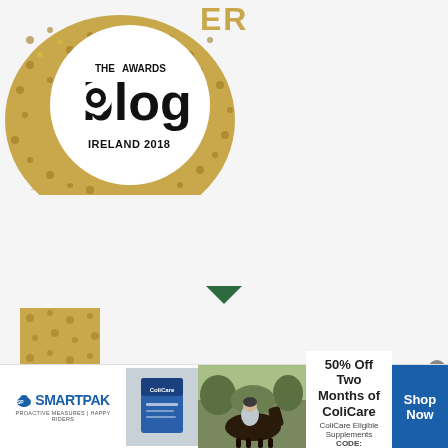[Figure (logo): The Blog Awards Ireland 2018 gold sequin logo with speech bubble shape and white circle containing text 'THE AWARDS blog IRELAND 2018', partially cropped with gold text 'ER' visible at top]
SILVER WINNER – EDUCATION & SCIENCE BLOG 2017
[Figure (logo): Partial view of a second Blog Awards Ireland gold sequin logo at bottom left]
[Figure (infographic): SmartPak advertisement banner: SmartPak logo with horse rider icon, product image, horse and rider photo, text '50% Off Two Months of ColiCare, ColiCare Eligible Supplements, CODE: COLICARE10', blue Shop Now button]